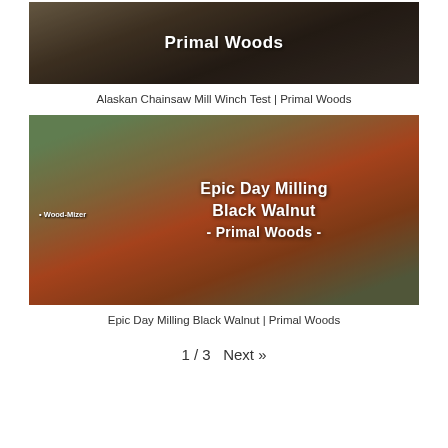[Figure (photo): Thumbnail image of Alaskan Chainsaw Mill Winch Test with 'Primal Woods' text overlay on a dark background showing wood and machinery]
Alaskan Chainsaw Mill Winch Test | Primal Woods
[Figure (photo): Thumbnail image of a Wood-Mizer sawmill milling a black walnut log outdoors with text 'Epic Day Milling Black Walnut - Primal Woods -' overlay]
Epic Day Milling Black Walnut | Primal Woods
1 / 3   Next »